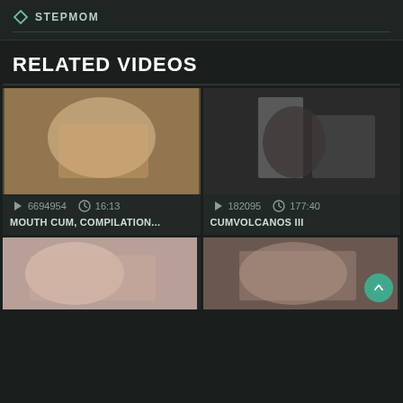STEPMOM
RELATED VIDEOS
[Figure (photo): Thumbnail of blonde woman in explicit act]
6694954  16:13
MOUTH CUM, COMPILATION...
[Figure (photo): Thumbnail of dark-haired woman in explicit scene with multiple people]
182095  177:40
CUMVOLCANOS III
[Figure (photo): Thumbnail of bottom-left explicit video]
[Figure (photo): Thumbnail of bottom-right explicit video with scroll-to-top button overlay]